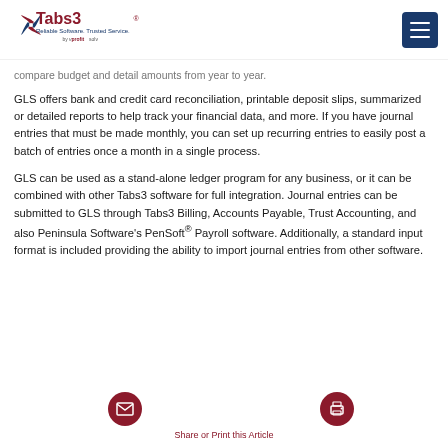Tabs3 — Reliable Software. Trusted Service. by profitsolv
compare budget and detail amounts from year to year.
GLS offers bank and credit card reconciliation, printable deposit slips, summarized or detailed reports to help track your financial data, and more. If you have journal entries that must be made monthly, you can set up recurring entries to easily post a batch of entries once a month in a single process.
GLS can be used as a stand-alone ledger program for any business, or it can be combined with other Tabs3 software for full integration. Journal entries can be submitted to GLS through Tabs3 Billing, Accounts Payable, Trust Accounting, and also Peninsula Software's PenSoft® Payroll software. Additionally, a standard input format is included providing the ability to import journal entries from other software.
Share or Print this Article